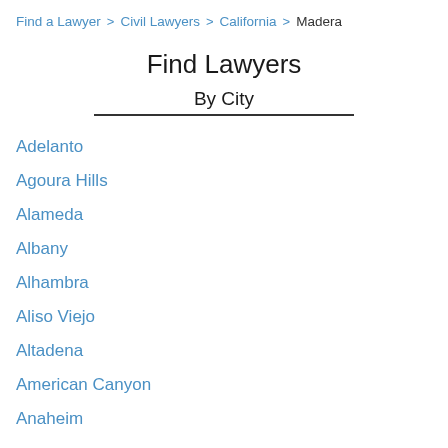Find a Lawyer > Civil Lawyers > California > Madera
Find Lawyers
By City
Adelanto
Agoura Hills
Alameda
Albany
Alhambra
Aliso Viejo
Altadena
American Canyon
Anaheim